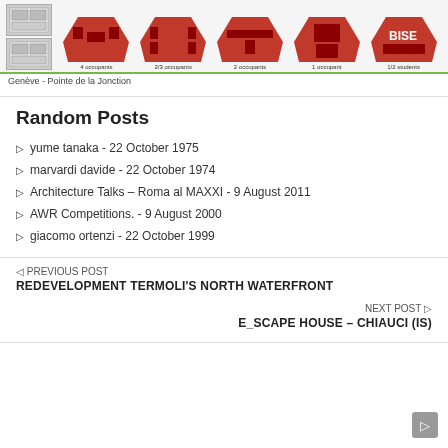[Figure (photo): Architecture project images showing floor plan thumbnails on the left and five red 3D architectural models labeled with different occupant counts: 4 occupants, 2/3 occupants, 2 occupants, 1 occupant, 1/2 students]
Genève - Pointe de la Jonction
Random Posts
yume tanaka - 22 October 1975
marvardi davide - 22 October 1974
Architecture Talks – Roma al MAXXI - 9 August 2011
AWR Competitions. - 9 August 2000
giacomo ortenzi - 22 October 1999
← PREVIOUS POST
REDEVELOPMENT TERMOLI'S NORTH WATERFRONT
NEXT POST →
E_SCAPE HOUSE – CHIAUCI (IS)